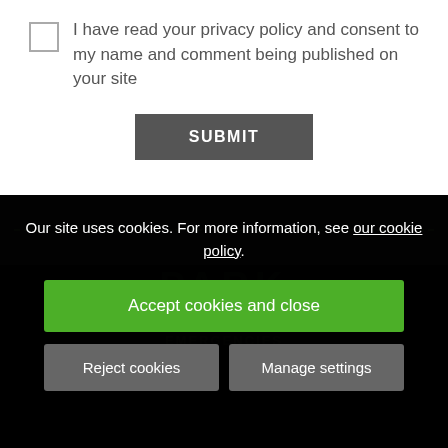I have read your privacy policy and consent to my name and comment being published on your site
SUBMIT
Our site uses cookies. For more information, see our cookie policy.
Accept cookies and close
Reject cookies
Manage settings
PARK
NEW CLIENTS
EMERGENCIES